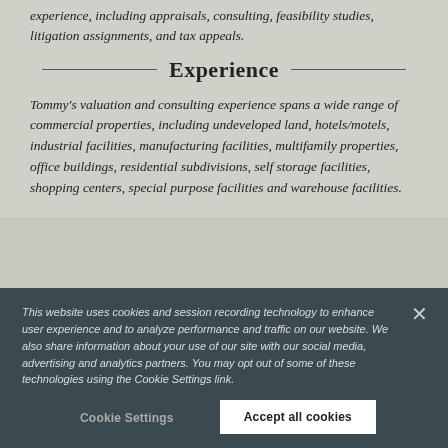experience, including appraisals, consulting, feasibility studies, litigation assignments, and tax appeals.
Experience
Tommy's valuation and consulting experience spans a wide range of commercial properties, including undeveloped land, hotels/motels, industrial facilities, manufacturing facilities, multifamily properties, office buildings, residential subdivisions, self storage facilities, shopping centers, special purpose facilities and warehouse facilities.
This website uses cookies and session recording technology to enhance user experience and to analyze performance and traffic on our website. We also share information about your use of our site with our social media, advertising and analytics partners. You may opt out of some of these technologies using the Cookie Settings link.
Cookie Settings
Accept all cookies